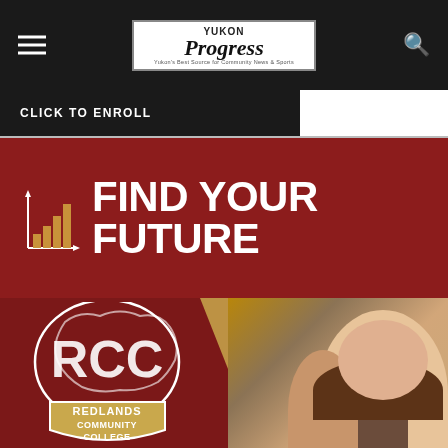Yukon Progress — Yukon's Best Source for Community News & Sports
CLICK TO ENROLL
[Figure (illustration): Redlands Community College advertisement with dark red background, bar chart growth icon, bold white text reading FIND YOUR FUTURE, RCC mascot logo with shield reading REDLANDS COMMUNITY COLLEGE, and photo of smiling students at a computer]